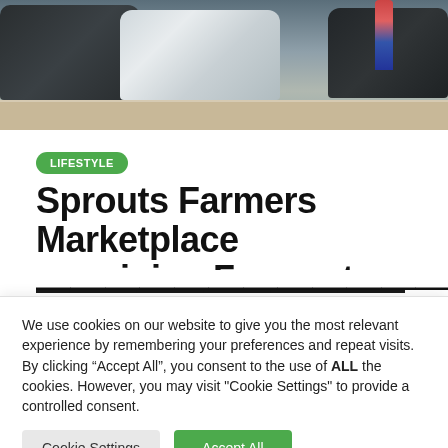[Figure (photo): Parking lot scene with several cars including a silver Toyota Prius and dark colored vehicles, with a person visible in the background]
LIFESTYLE
Sprouts Farmers Marketplace remaining Fremont, Mountain View
We use cookies on our website to give you the most relevant experience by remembering your preferences and repeat visits. By clicking “Accept All”, you consent to the use of ALL the cookies. However, you may visit "Cookie Settings" to provide a controlled consent.